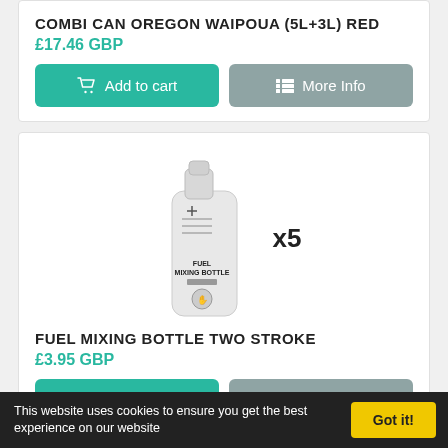COMBI CAN OREGON WAIPOUA (5L+3L) RED
£17.46 GBP
[Figure (other): Fuel mixing bottle product image showing a white bottle with x5 quantity label]
FUEL MIXING BOTTLE TWO STROKE
£3.95 GBP
This website uses cookies to ensure you get the best experience on our website